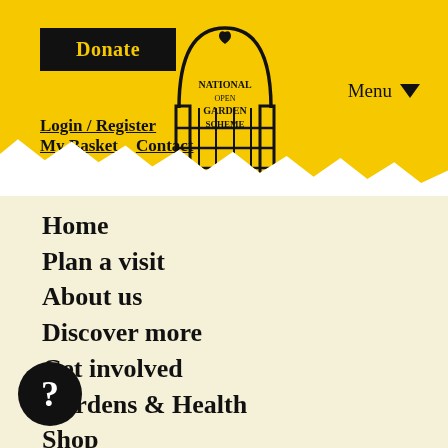National Garden Scheme website header with Donate button, Login/Register, My Basket, Contact links, logo, and Menu
Home
Plan a visit
About us
Discover more
Get involved
Gardens & Health
Shop
My Basket
Delivery & Returns
Garden Registration
n Financial
tched Funding